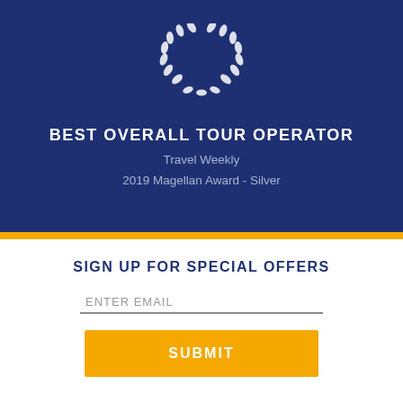[Figure (illustration): White laurel wreath icon on dark navy background]
BEST OVERALL TOUR OPERATOR
Travel Weekly
2019 Magellan Award - Silver
SIGN UP FOR SPECIAL OFFERS
ENTER EMAIL
SUBMIT